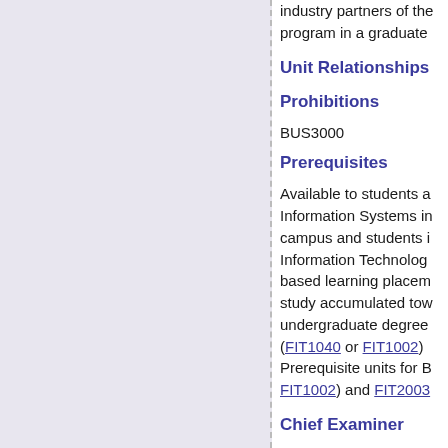industry partners of the program in a graduate
Unit Relationships
Prohibitions
BUS3000
Prerequisites
Available to students a Information Systems in campus and students i Information Technolog based learning placem study accumulated tow undergraduate degree (FIT1040 or FIT1002) Prerequisite units for B FIT1002) and FIT2003
Chief Examiner
Dr Sue Bedingfield